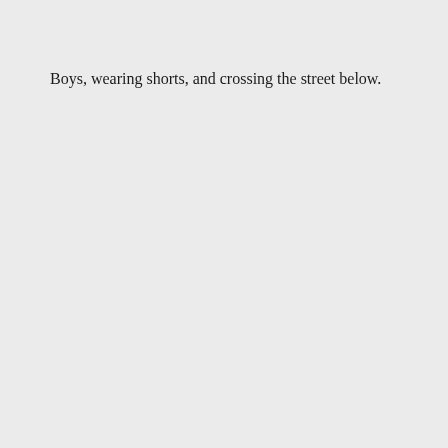Boys, wearing shorts, and crossing the street below.